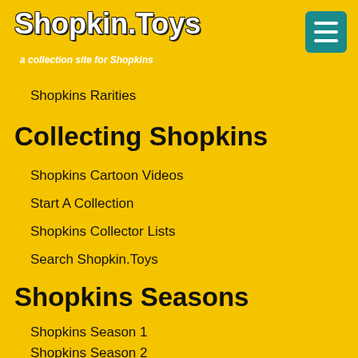Shopkin.Toys
a collection site for Shopkins
Shopkins Rarities
Collecting Shopkins
Shopkins Cartoon Videos
Start A Collection
Shopkins Collector Lists
Search Shopkin.Toys
Shopkins Seasons
Shopkins Season 1
Shopkins Season 2